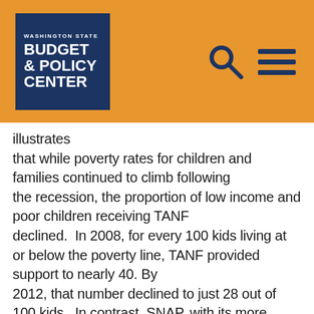Washington State Budget & Policy Center
illustrates that while poverty rates for children and families continued to climb following the recession, the proportion of low income and poor children receiving TANF declined.  In 2008, for every 100 kids living at or below the poverty line, TANF provided support to nearly 40. By 2012, that number declined to just 28 out of 100 kids.  In contrast, SNAP, with its more flexible funding structure, was able to react to increased demand during the recession (see figure below).  In 2008, SNAP provided support for roughly 45 out of every 100 low income